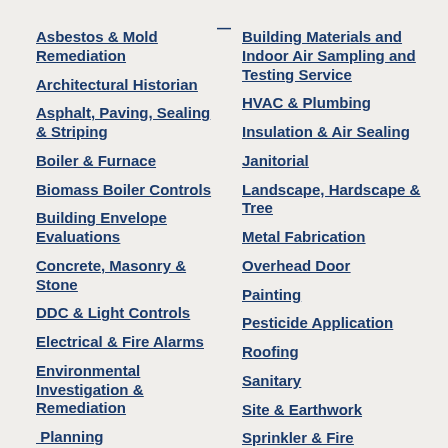Asbestos & Mold Remediation
Architectural Historian
Asphalt, Paving, Sealing & Striping
Boiler & Furnace
Biomass Boiler Controls
Building Envelope Evaluations
Concrete, Masonry & Stone
DDC & Light Controls
Electrical & Fire Alarms
Environmental Investigation & Remediation
Planning
Fencing
Flooring
Building Materials and Indoor Air Sampling and Testing Service
HVAC & Plumbing
Insulation & Air Sealing
Janitorial
Landscape, Hardscape & Tree
Metal Fabrication
Overhead Door
Painting
Pesticide Application
Roofing
Sanitary
Site & Earthwork
Sprinkler & Fire Suppression
Window & Door